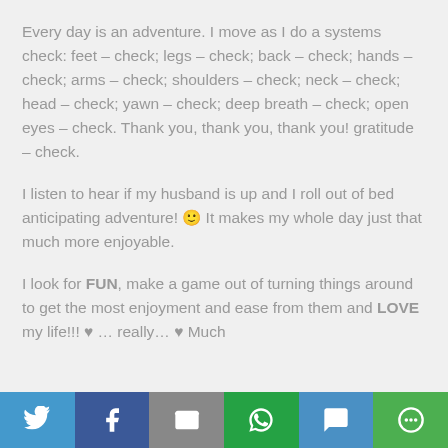Every day is an adventure. I move as I do a systems check: feet – check; legs – check; back – check; hands – check; arms – check; shoulders – check; neck – check; head – check; yawn – check; deep breath – check; open eyes – check. Thank you, thank you, thank you! gratitude – check.
I listen to hear if my husband is up and I roll out of bed anticipating adventure! 🙂 It makes my whole day just that much more enjoyable.
I look for FUN, make a game out of turning things around to get the most enjoyment and ease from them and LOVE my life!!! ♥ … really… ♥ Much
[Figure (infographic): Social share bar with Twitter, Facebook, Email, WhatsApp, SMS, and More buttons]